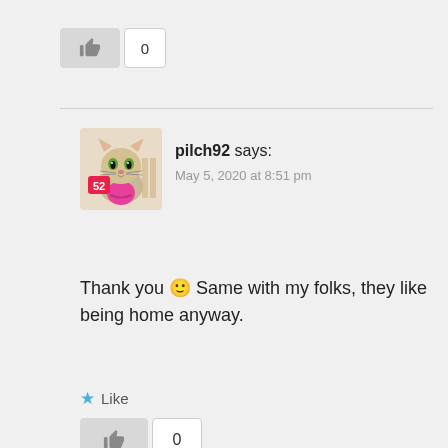[Figure (other): Thumbs up button with count 0]
[Figure (other): Avatar image of a cartoon cat character for user pilch92]
pilch92 says:
May 5, 2020 at 8:51 pm
Thank you 🙂 Same with my folks, they like being home anyway.
Like
[Figure (other): Thumbs up button with count 0]